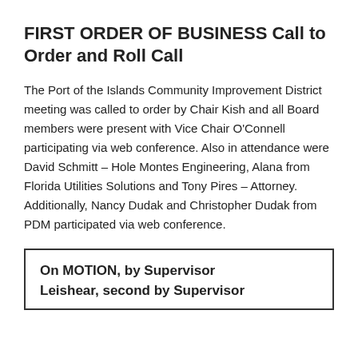FIRST ORDER OF BUSINESS Call to Order and Roll Call
The Port of the Islands Community Improvement District meeting was called to order by Chair Kish and all Board members were present with Vice Chair O'Connell participating via web conference. Also in attendance were David Schmitt – Hole Montes Engineering, Alana from Florida Utilities Solutions and Tony Pires – Attorney. Additionally, Nancy Dudak and Christopher Dudak from PDM participated via web conference.
On MOTION, by Supervisor Leishear, second by Supervisor